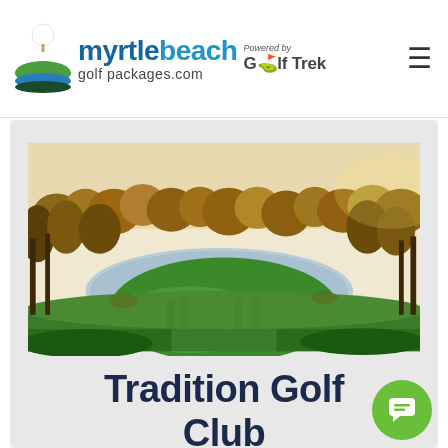myrtlebeachgolfpackages.com Powered by Golf Trek
[Figure (photo): Golf course photo showing green fairway, pond/water hazard, and autumn-colored trees in the background]
Tradition Golf Club